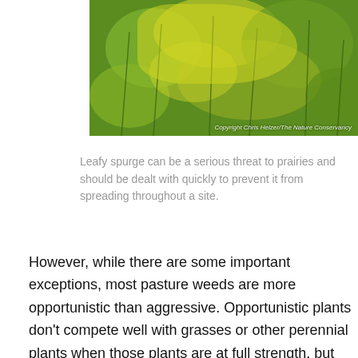[Figure (photo): Close-up photograph of leafy spurge plant with yellow-green flowers, with copyright text overlay reading 'Copyright Chris Helzer/The Nature Conservancy']
Leafy spurge can be a serious threat to prairies and should be dealt with quickly to prevent it from spreading throughout a site.
However, while there are some important exceptions, most pasture weeds are more opportunistic than aggressive. Opportunistic plants don't compete well with grasses or other perennial plants when those plants are at full strength, but can move quickly to fill spaces left between plants that are weakened by intensive grazing or drought. Many opportunistic species are short-lived, and produce huge numbers of seeds, and those seeds sit in the soil waiting for a chance to germinate and grow.  When the